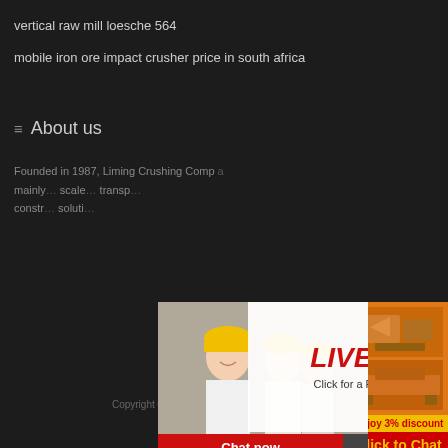vertical raw mill loesche 564
mobile iron ore impact crusher price in south africa
About us
Founded in 1987, Liming Crushing Comp... mainly ... scale ... transp... constr... soluti...
[Figure (screenshot): Live chat popup with photo of smiling woman in hard hat and colleagues, LIVE CHAT title in red italic, 'Click for a Free Consultation' subtitle, Chat now (red) and Chat later (dark) buttons]
[Figure (screenshot): Right sidebar showing orange background with crusher machine images, 'Enjoy 3% discount' in yellow bar, 'Click to Chat' in red/yellow bar, 'Enquiry' button, 'limingjlmofen @sina.com' contact]
Copyright © 2021.Company name All rights rese...
Sinker